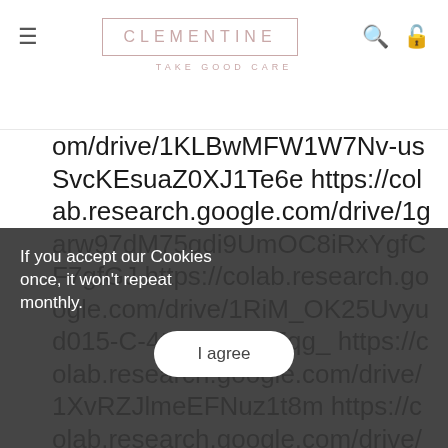CLEMENTINE — TAKE GOOD CARE
om/drive/1KLBwMFW1W7Nv-usSvcKEsuaZ0XJ1Te6e https://colab.research.google.com/drive/1garw97dM75qdi9UmOC8iRxYgfCF7gfGJ https://colab.research.google.com/drive/1RiM_OK25Uvyud015-C-4ts9mjLRY7qg_ https://colab.research.google.com/drive/1XvRZJlmeEFNuz1t8m https://colab.research.google.com/drive/1t0ufMQ5kDKG0lXlpx_8X AAVz https://colab.research.google.c
If you accept our Cookies once, it won't repeat monthly.
I agree